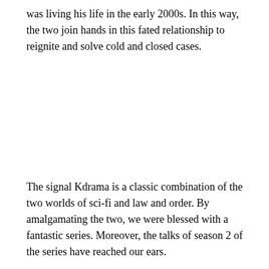was living his life in the early 2000s. In this way, the two join hands in this fated relationship to reignite and solve cold and closed cases.
The signal Kdrama is a classic combination of the two worlds of sci-fi and law and order. By amalgamating the two, we were blessed with a fantastic series. Moreover, the talks of season 2 of the series have reached our ears.